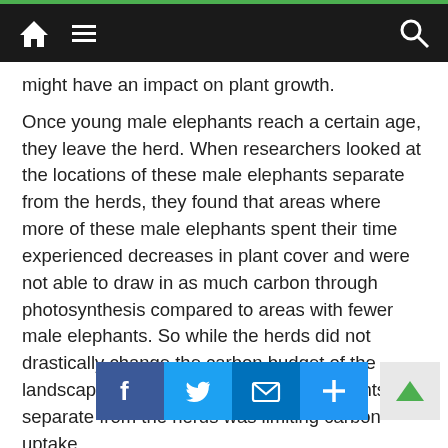[navigation bar with home, menu, and search icons]
might have an impact on plant growth.
Once young male elephants reach a certain age, they leave the herd. When researchers looked at the locations of these male elephants separate from the herds, they found that areas where more of these male elephants spent their time experienced decreases in plant cover and were not able to draw in as much carbon through photosynthesis compared to areas with fewer male elephants. So while the herds did not drastically change the carbon budget of the landscape, the activity of the male elephants separate from the herds was limiting carbon uptake.
This study reveals some of the complex ways that nature can work, revealing how large animals can change the environment in which the[y] live[. We can learn a] lot about the carbon cycle, there are still many